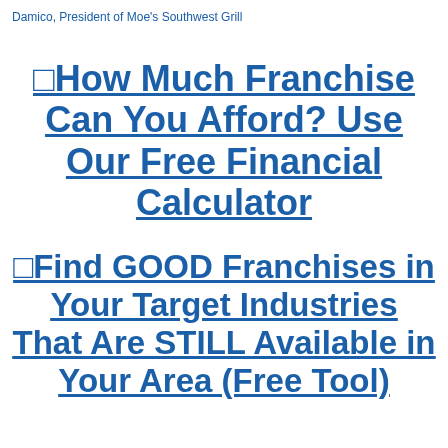Damico, President of Moe's Southwest Grill
�How Much Franchise Can You Afford? Use Our Free Financial Calculator
�Find GOOD Franchises in Your Target Industries That Are STILL Available in Your Area (Free Tool)